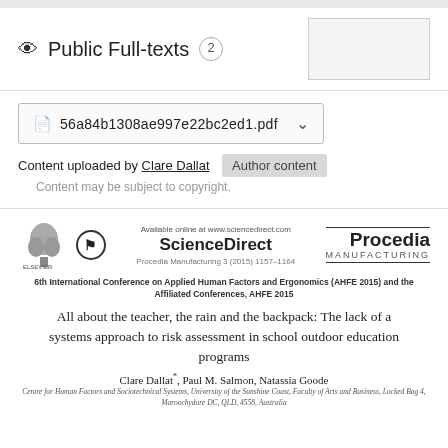Public Full-texts 2
56a84b1308ae997e22bc2ed1.pdf
Content uploaded by Clare Dallat
Content may be subject to copyright.
[Figure (logo): Elsevier and CrossMark logos alongside ScienceDirect branding and Procedia Manufacturing journal header]
Available online at www.sciencedirect.com
ScienceDirect
Procedia Manufacturing 3 (2015) 1157-1164
6th International Conference on Applied Human Factors and Ergonomics (AHFE 2015) and the Affiliated Conferences, AHFE 2015
All about the teacher, the rain and the backpack: The lack of a systems approach to risk assessment in school outdoor education programs
Clare Dallat*, Paul M. Salmon, Natassia Goode
Centre for Human Factors and Sociotechnical Systems, University of the Sunshine Coast, Faculty of Arts and Business, Locked Bag 4, Maroochydore DC, QLD, 4558, Australia